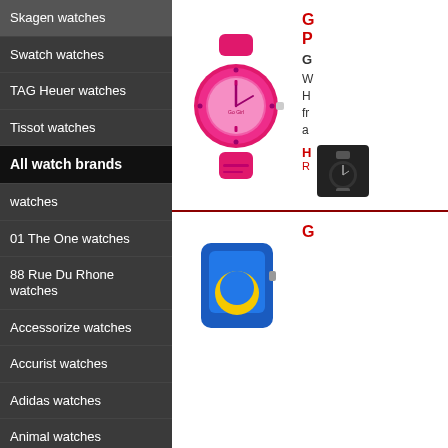Skagen watches
Swatch watches
TAG Heuer watches
Tissot watches
All watch brands
watches
01 The One watches
88 Rue Du Rhone watches
Accessorize watches
Accurist watches
Adidas watches
Animal watches
Anna Klein watches
[Figure (photo): Pink silicone sport watch (Go Girl style) with bright pink band and dial]
G
P
G
W
H
fr
a
H
R
[Figure (photo): Blue and yellow rectangular watch, partially visible at bottom of page]
G